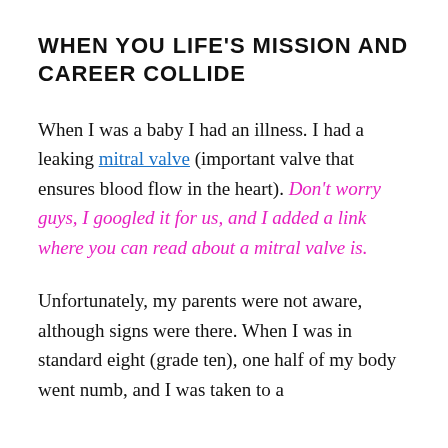WHEN YOU LIFE'S MISSION AND CAREER COLLIDE
When I was a baby I had an illness. I had a leaking mitral valve (important valve that ensures blood flow in the heart). Don't worry guys, I googled it for us, and I added a link where you can read about a mitral valve is.
Unfortunately, my parents were not aware, although signs were there. When I was in standard eight (grade ten), one half of my body went numb, and I was taken to a